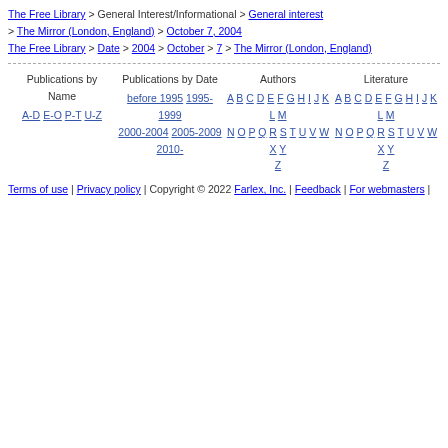The Free Library > General Interest/Informational > General interest > The Mirror (London, England) > October 7, 2004
The Free Library > Date > 2004 > October > 7 > The Mirror (London, England)
Publications by Name | Publications by Date | Authors | Literature
A-D E-O P-T U-Z | before 1995 1995-1999 2000-2004 2005-2009 2010- | A B C D E F G H I J K L M N O P Q R S T U V W X Y Z | A B C D E F G H I J K L M N O P Q R S T U V W X Y Z
Terms of use | Privacy policy | Copyright © 2022 Farlex, Inc. | Feedback | For webmasters |